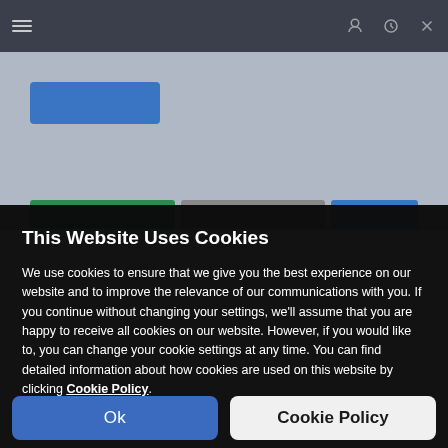[Figure (screenshot): Blurred website screenshot showing a dark navigation bar at top with hamburger menu and icons, a grey web content area with a blue button and partial page content, and coloured bars at the bottom of the visible web area.]
This Website Uses Cookies
We use cookies to ensure that we give you the best experience on our website and to improve the relevance of our communications with you. If you continue without changing your settings, we'll assume that you are happy to receive all cookies on our website. However, if you would like to, you can change your cookie settings at any time. You can find detailed information about how cookies are used on this website by clicking Cookie Policy.
Ok
Cookie Policy